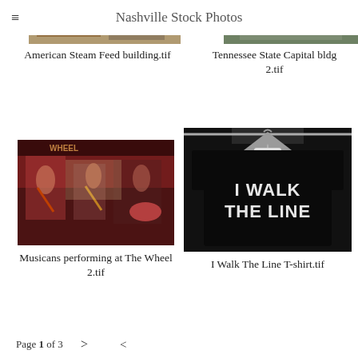Nashville Stock Photos
[Figure (photo): American Steam Feed building storefront photo, Nashville]
[Figure (photo): Tennessee State Capital building photo, Nashville]
American Steam Feed building.tif
Tennessee State Capital bldg 2.tif
[Figure (photo): Musicians performing at The Wheel bar, Nashville]
[Figure (photo): I Walk The Line T-shirt on hanger in store]
Musicans performing at The Wheel 2.tif
I Walk The Line T-shirt.tif
Page 1 of 3